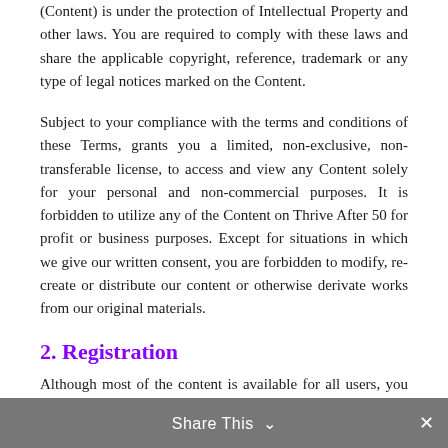(Content) is under the protection of Intellectual Property and other laws. You are required to comply with these laws and share the applicable copyright, reference, trademark or any type of legal notices marked on the Content.
Subject to your compliance with the terms and conditions of these Terms, grants you a limited, non-exclusive, non-transferable license, to access and view any Content solely for your personal and non-commercial purposes. It is forbidden to utilize any of the Content on Thrive After 50 for profit or business purposes. Except for situations in which we give our written consent, you are forbidden to modify, re-create or distribute our content or otherwise derivate works from our original materials.
2. Registration
Although most of the content is available for all users, you may be required to register an account or